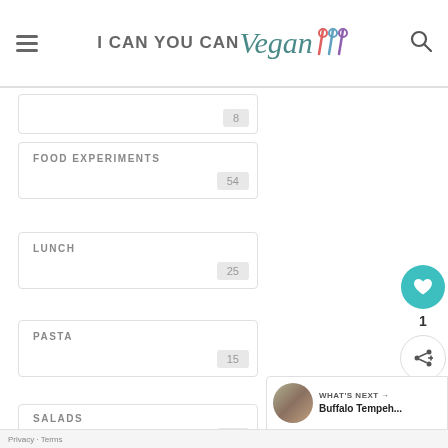I CAN YOU CAN Vegan
8
FOOD EXPERIMENTS 54
LUNCH 25
PASTA 15
SALADS 11
[Figure (other): Social sidebar with heart/like button showing count 1 and share button]
[Figure (other): What's Next panel with thumbnail image and text 'Buffalo Tempeh...']
Privacy · Terms